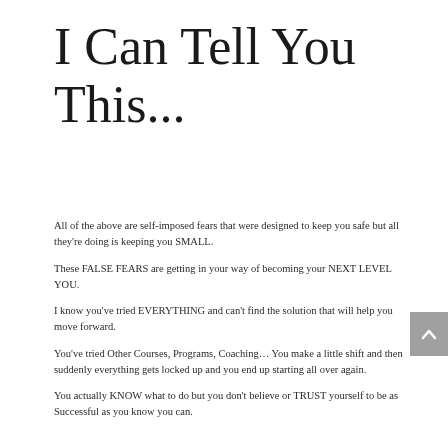I Can Tell You This...
All of the above are self-imposed fears that were designed to keep you safe but all they're doing is keeping you SMALL.
These FALSE FEARS are getting in your way of becoming your NEXT LEVEL YOU.
I know you've tried EVERYTHING and can't find the solution that will help you move forward.
You've tried Other Courses, Programs, Coaching... You make a little shift and then suddenly everything gets locked up and you end up starting all over again.
You actually KNOW what to do but you don't believe or TRUST yourself to be as Successful as you know you can.